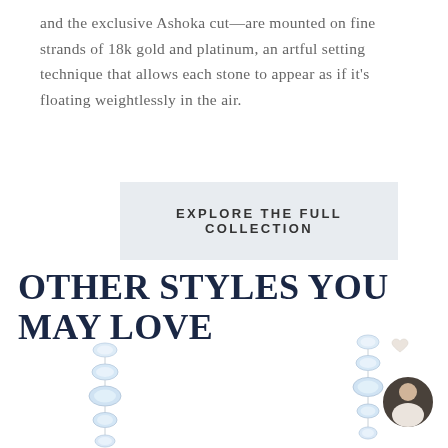and the exclusive Ashoka cut—are mounted on fine strands of 18k gold and platinum, an artful setting technique that allows each stone to appear as if it's floating weightlessly in the air.
EXPLORE THE FULL COLLECTION
OTHER STYLES YOU MAY LOVE
[Figure (photo): Diamond strand jewelry piece on left side, partially visible]
[Figure (photo): Diamond strand jewelry piece on right side with circular portrait photo of a woman overlaid]